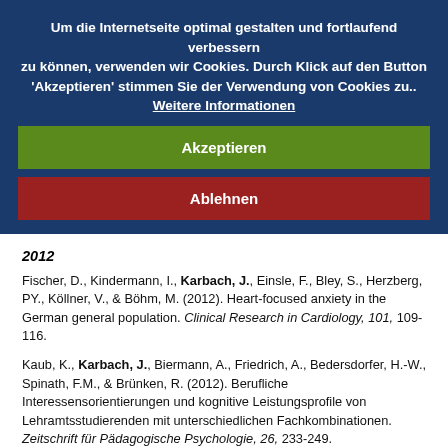Um die Internetseite optimal gestalten und fortlaufend verbessern zu können, verwenden wir Cookies. Durch Klick auf den Button 'Akzeptieren' stimmen Sie der Verwendung von Cookies zu.. Weitere Informationen
Akzeptieren
Ablehnen
2012
Fischer, D., Kindermann, I., Karbach, J., Einsle, F., Bley, S., Herzberg, PY., Köllner, V., & Böhm, M. (2012). Heart-focused anxiety in the German general population. Clinical Research in Cardiology, 101, 109-116.
Kaub, K., Karbach, J., Biermann, A., Friedrich, A., Bedersdorfer, H.-W., Spinath, F.M., & Brünken, R. (2012). Berufliche Interessensorientierungen und kognitive Leistungsprofile von Lehramtsstudierenden mit unterschiedlichen Fachkombinationen. Zeitschrift für Pädagogische Psychologie, 26, 233-249.
Kindermann, I., Fischer, D., Karbach, J., Link, A., Walenta, K., Barth...